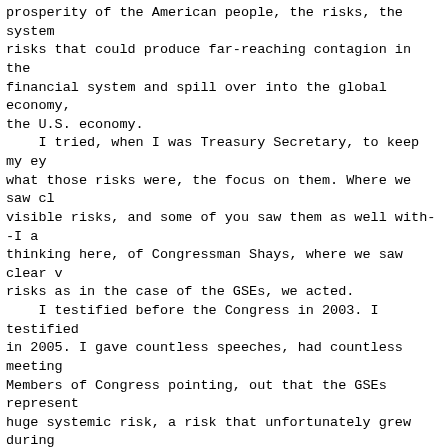prosperity of the American people, the risks, the system risks that could produce far-reaching contagion in the financial system and spill over into the global economy, the U.S. economy.
    I tried, when I was Treasury Secretary, to keep my eye on what those risks were, the focus on them. Where we saw clear visible risks, and some of you saw them as well with--I am thinking here, of Congressman Shays, where we saw clear visible risks as in the case of the GSEs, we acted.
    I testified before the Congress in 2003. I testified in 2005. I gave countless speeches, had countless meetings with Members of Congress pointing, out that the GSEs represented a huge systemic risk, a risk that unfortunately grew during this period, Mr. Chairman, as they continued to broaden out, and extraordinary blowout, growth of their own investment, their own investment portfolios.
    I called for a strong regulator. We called for a disclosure. We called for application of the securities laws. We called for a regulator who would have authority over capital standards. We called for a regulator who could limit the size of their portfolios. We called for a regulator who could limit the lines of business they could get into, and, most importantly, to deal with the implied guarantee, which was at the heart of the problem, the fact their paper traded like Government paper.
    We called for a regulator with the ability to have an orderly restucturing through liquidation and bankruptcy of those entities, sending a clear message to the markets that they weren't, ``too big to fail.''
    I think if we had acted then, Mr. Chairman, there may